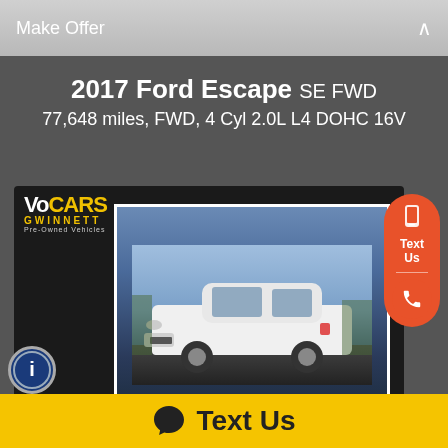Make Offer
2017 Ford Escape SE FWD
77,648 miles, FWD, 4 Cyl 2.0L L4 DOHC 16V
[Figure (photo): White 2017 Ford Escape SUV parked in a lot, front 3/4 view, VCCars Gwinnett dealer photo]
VCCARSG.COM   CALL: 678-869-1900   TEXT: 855-907-3097
Text Us